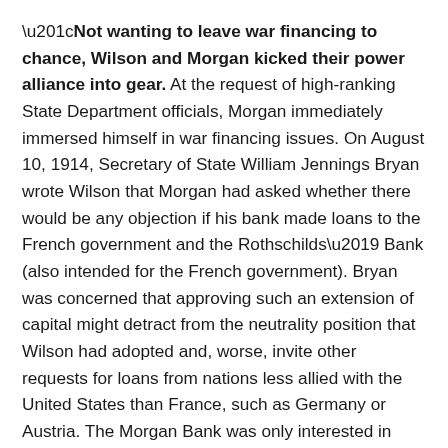“Not wanting to leave war financing to chance, Wilson and Morgan kicked their power alliance into gear. At the request of high-ranking State Department officials, Morgan immediately immersed himself in war financing issues. On August 10, 1914, Secretary of State William Jennings Bryan wrote Wilson that Morgan had asked whether there would be any objection if his bank made loans to the French government and the Rothschilds’ Bank (also intended for the French government). Bryan was concerned that approving such an extension of capital might detract from the neutrality position that Wilson had adopted and, worse, invite other requests for loans from nations less allied with the United States than France, such as Germany or Austria. The Morgan Bank was only interested in assisting the Allies.”